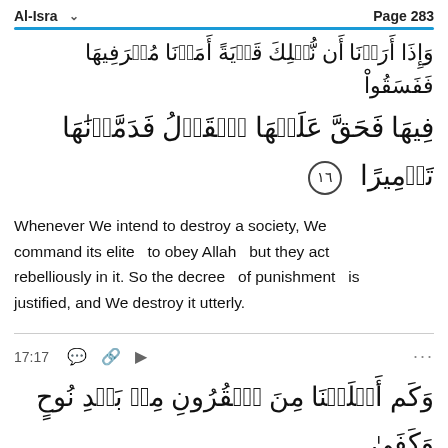Al-Isra   Page 283
وَإِذَا أَرَدۡنَا أَن نُّهۡلِكَ قَرۡيَةً أَمَرۡنَا مُتۡرَفِيهَا فَفَسَقُواْ
فِيهَا فَحَقَّ عَلَيۡهَا ٱلۡقَوۡلُ فَدَمَّرۡنَٰهَا تَدۡمِيرًا ۞ ١٦
Whenever We intend to destroy a society, We command its elite   to obey Allah   but they act rebelliously in it. So the decree   of punishment   is justified, and We destroy it utterly.
17:17   ...
وَكَم أَهۡلَكۡنَا مِنَ ٱلۡقُرُونِ مِنۢ بَعۡدِ نُوحٍ وَكَفَىٰ
(partial Arabic verse continues)